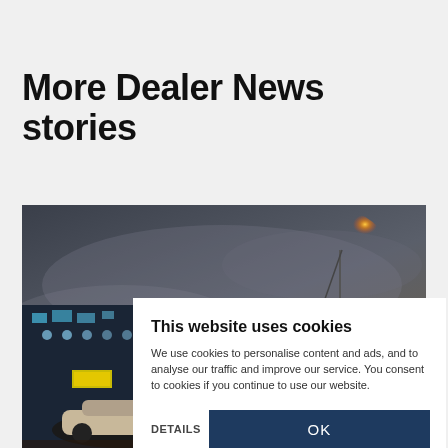More Dealer News stories
[Figure (photo): Nighttime photo showing a car dealership with illuminated building on the left, cars parked in front, and a dramatic stormy sky with a streetlight glowing orange on the right]
This website uses cookies
We use cookies to personalise content and ads, and to analyse our traffic and improve our service. You consent to cookies if you continue to use our website.
DETAILS
OK